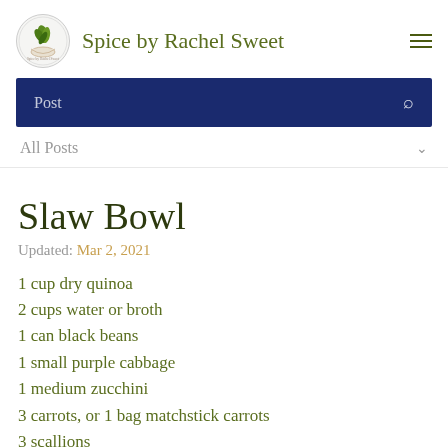Spice by Rachel Sweet
[Figure (logo): Circular logo with green herb/basil leaves illustration and handwritten text]
Post
All Posts
Slaw Bowl
Updated: Mar 2, 2021
1 cup dry quinoa
2 cups water or broth
1 can black beans
1 small purple cabbage
1 medium zucchini
3 carrots, or 1 bag matchstick carrots
3 scallions